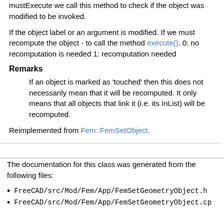mustExecute we call this method to check if the object was modified to be invoked.
If the object label or an argument is modified. If we must recompute the object - to call the method execute(). 0: no recomputation is needed 1: recomputation needed
Remarks
If an object is marked as 'touched' then this does not necessarily mean that it will be recomputed. It only means that all objects that link it (i.e. its InList) will be recomputed.
Reimplemented from Fem::FemSetObject.
The documentation for this class was generated from the following files:
FreeCAD/src/Mod/Fem/App/FemSetGeometryObject.h
FreeCAD/src/Mod/Fem/App/FemSetGeometryObject.cp